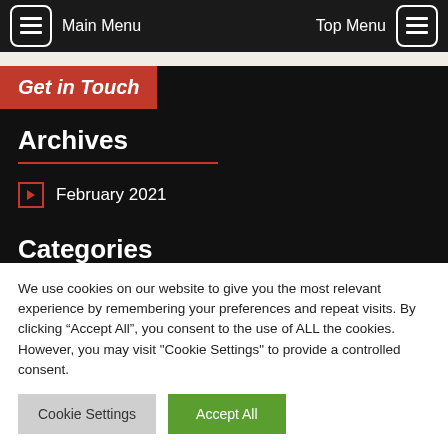Main Menu | Top Menu
Get in Touch
Archives
February 2021
Categories
We use cookies on our website to give you the most relevant experience by remembering your preferences and repeat visits. By clicking “Accept All”, you consent to the use of ALL the cookies. However, you may visit "Cookie Settings" to provide a controlled consent.